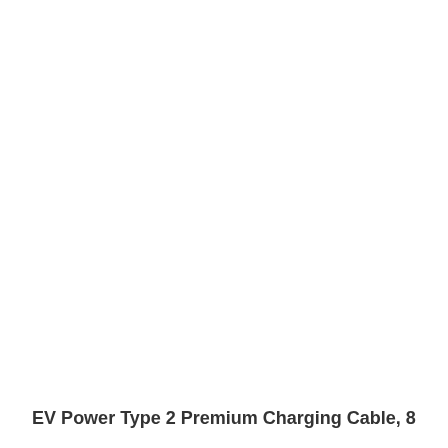EV Power Type 2 Premium Charging Cable, 8